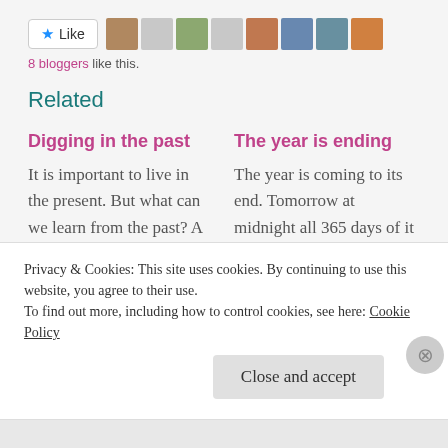[Figure (other): Like button with star icon and 8 blogger avatar thumbnails]
8 bloggers like this.
Related
Digging in the past
It is important to live in the present. But what can we learn from the past? A lot! And for anyone being
The year is ending
The year is coming to its end. Tomorrow at midnight all 365 days of it will be completed. This will be my last
Privacy & Cookies: This site uses cookies. By continuing to use this website, you agree to their use.
To find out more, including how to control cookies, see here: Cookie Policy